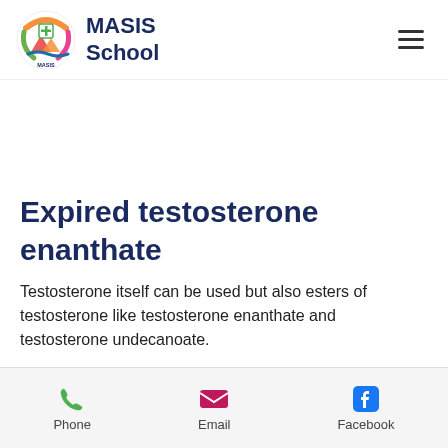[Figure (logo): MASIS School logo — circular colorful emblem with mountains, waves, and a medical cross, plus wordmark 'MASIS School' in dark navy bold text]
Expired testosterone enanthate
Testosterone itself can be used but also esters of testosterone like testosterone enanthate and testosterone undecanoate.
Phone   Email   Facebook